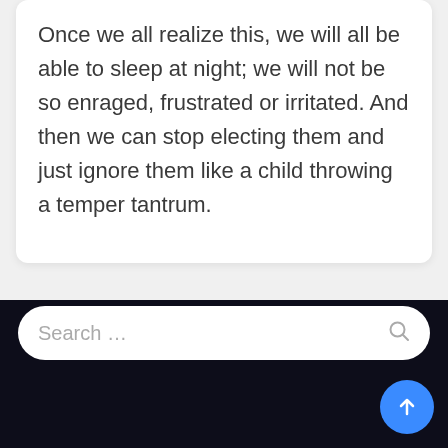Once we all realize this, we will all be able to sleep at night; we will not be so enraged, frustrated or irritated. And then we can stop electing them and just ignore them like a child throwing a temper tantrum.
[Figure (screenshot): Dark footer area with a rounded search bar containing placeholder text 'Search ...' and a magnifying glass icon, plus a blue circular scroll-to-top button with an upward arrow.]